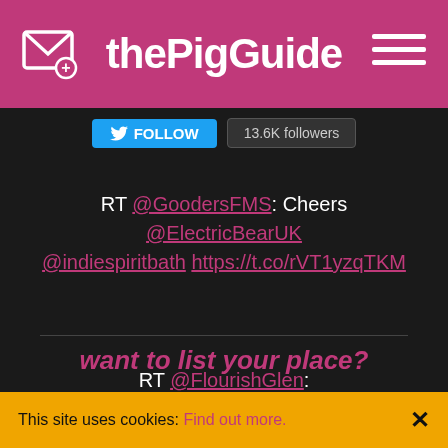thePigGuide
FOLLOW  13.6K followers
RT @GoodersFMS: Cheers @ElectricBearUK @indiespiritbath https://t.co/rVT1yzqTKM
RT @FlourishGlen: #Bankholidayweekend seems like the perfect time to buy some delicious, free range meat from the Flourish butchery - ready...
want to list your place?
This site uses cookies: Find out more.